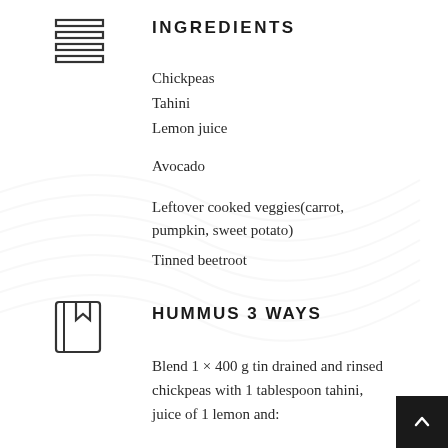[Figure (illustration): Horizontal lines icon representing a menu or list]
INGREDIENTS
Chickpeas
Tahini
Lemon juice
Avocado
Leftover cooked veggies(carrot, pumpkin, sweet potato)
Tinned beetroot
[Figure (illustration): Book/recipe icon with bookmark]
HUMMUS 3 WAYS
Blend 1 × 400 g tin drained and rinsed chickpeas with 1 tablespoon tahini, juice of 1 lemon and: